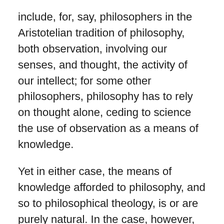include, for, say, philosophers in the Aristotelian tradition of philosophy, both observation, involving our senses, and thought, the activity of our intellect; for some other philosophers, philosophy has to rely on thought alone, ceding to science the use of observation as a means of knowledge.
Yet in either case, the means of knowledge afforded to philosophy, and so to philosophical theology, is or are purely natural. In the case, however, of the supra-philosophical or supernatural theology to which some major thinkers extend a recognition, the knowledge of the existence and nature of the divine is not achieved uniquely by purely natural human means; rather, they hold, at least some humans benefit from a divine grace elevating the natural human means of knowledge to a supernatural level, and thereby enabling them to know